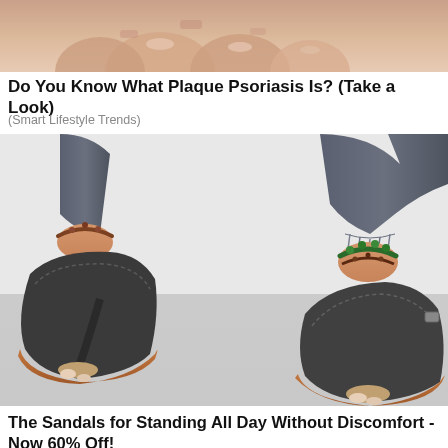[Figure (photo): Close-up photo of a person's foot/toes, skin visible, likely showing psoriasis condition]
Do You Know What Plaque Psoriasis Is? (Take a Look)
(Smart Lifestyle Trends)
[Figure (photo): Photo of a person wearing black orthopedic flip-flop sandals with brown soles and ankle bracelets, standing on a gray surface]
The Sandals for Standing All Day Without Discomfort - Now 60% Off!